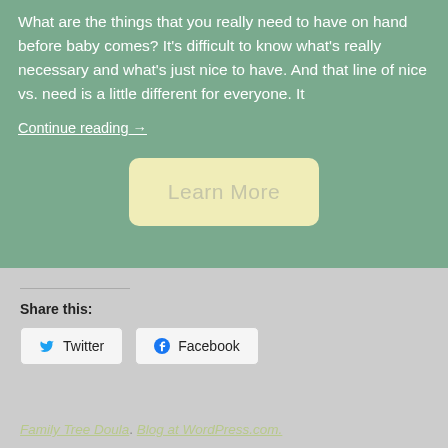What are the things that you really need to have on hand before baby comes? It's difficult to know what's really necessary and what's just nice to have. And that line of nice vs. need is a little different for everyone. It
Continue reading →
[Figure (other): A rounded rectangle button with light yellow background and muted text reading 'Learn More']
Share this:
Twitter   Facebook
Family Tree Doula. Blog at WordPress.com.